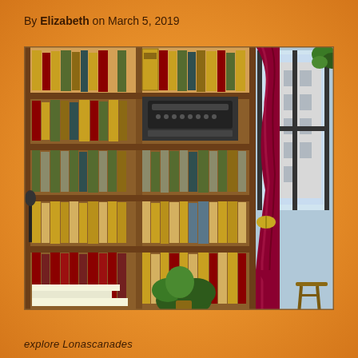By Elizabeth on March 5, 2019
[Figure (photo): Interior photo of a vintage bookshop or library with tall wooden bookshelves filled with antique leather-bound books, an old typewriter on one shelf, a window with draped dark red/burgundy curtains, a potted plant on the floor, and a wooden stool. The building outside the window is visible in daylight.]
explore Lonascanades